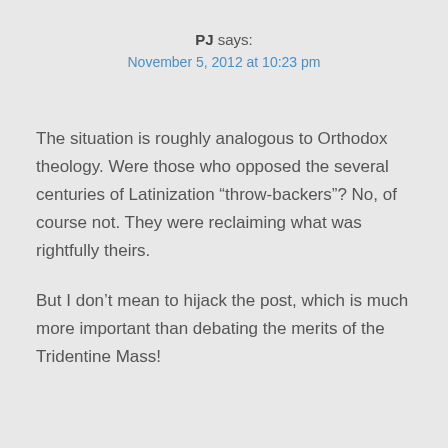PJ says: November 5, 2012 at 10:23 pm
The situation is roughly analogous to Orthodox theology. Were those who opposed the several centuries of Latinization “throw-backers”? No, of course not. They were reclaiming what was rightfully theirs.
But I don’t mean to hijack the post, which is much more important than debating the merits of the Tridentine Mass!